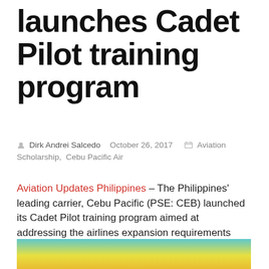launches Cadet Pilot training program
Dirk Andrei Salcedo   October 26, 2017     Aviation Scholarship,  Cebu Pacific Air
Aviation Updates Philippines – The Philippines' leading carrier, Cebu Pacific (PSE: CEB) launched its Cadet Pilot training program aimed at addressing the airlines expansion requirements over the next five years. The program, to be conducted in partnership with Flight Training Adelaide (FTA), will create 240 professional pilots who will subsequently join the corps of pilots of Cebu Pacific.
[Figure (photo): Bottom portion of a photo showing a colorful banner or display with teal/yellow colors, partially visible at the bottom of the page.]